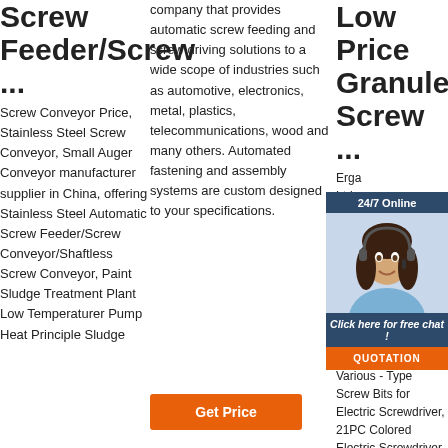Screw Feeder/Screw ...
Screw Conveyor Price, Stainless Steel Screw Conveyor, Small Auger Conveyor manufacturer supplier in China, offering Stainless Steel Automatic Screw Feeder/Screw Conveyor/Shaftless Screw Conveyor, Paint Sludge Treatment Plant Low Temperaturer Pump Heat Principle Sludge
company that provides automatic screw feeding and screw driving solutions to a wide scope of industries such as automotive, electronics, metal, plastics, telecommunications, wood and many others. Automated fastening and assembly systems are custom designed to your specifications.
[Figure (other): Get Price orange button]
Low Price Granule Screw ...
Erga... Ltd. Mac Mac Cou man in C Qua Har Granule Screw Feeder Machine, Various - Type Screw Bits for Electric Screwdriver, 21PC Colored Electric Screwdriver Bits
[Figure (other): 24/7 Online chat widget with female customer service agent photo, 'Click here for free chat!' text, and orange QUOTATION button]